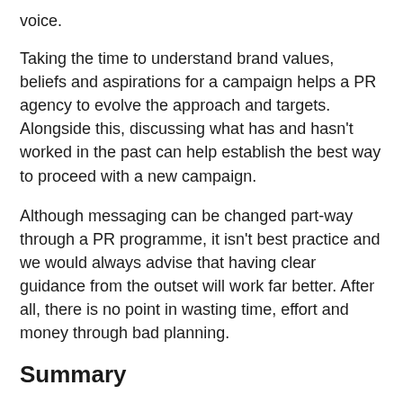voice.
Taking the time to understand brand values, beliefs and aspirations for a campaign helps a PR agency to evolve the approach and targets. Alongside this, discussing what has and hasn't worked in the past can help establish the best way to proceed with a new campaign.
Although messaging can be changed part-way through a PR programme, it isn't best practice and we would always advise that having clear guidance from the outset will work far better. After all, there is no point in wasting time, effort and money through bad planning.
Summary
Providing a detailed brief gives agencies and clients a focus. It allows everyone involved to achieve what was first discussed and to manage realistic expectations. One of the best feelings is to showcase results that meet with